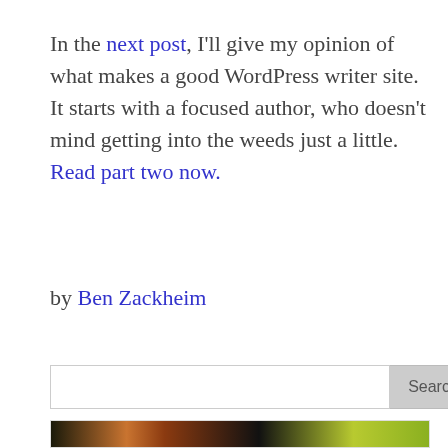In the next post, I'll give my opinion of what makes a good WordPress writer site. It starts with a focused author, who doesn't mind getting into the weeds just a little. Read part two now.
by Ben Zackheim
[Figure (screenshot): Search bar input field with Search button and up-arrow scroll-to-top button]
[Figure (photo): Partial view of a photo showing colorful leaf-like shapes on a dark background — orange and yellow-green forms visible]